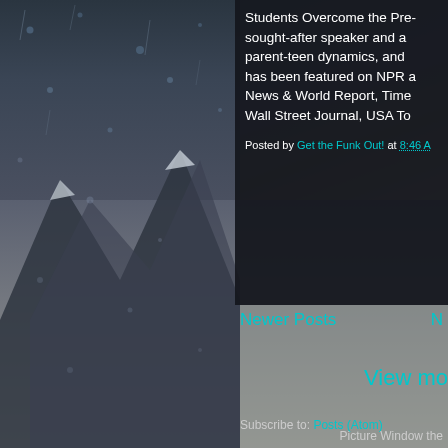[Figure (photo): Dark moody background photo of a mountain scene with rain drops on glass, dark blue-grey tones. Left half shows snowy mountain peaks with rain-streaked glass overlay. Right half transitions to a greyer, lighter tone.]
Students Overcome the Pre- sought-after speaker and a parent-teen dynamics, and has been featured on NPR News & World Report, Time Wall Street Journal, USA To
Posted by Get the Funk Out! at 8:46 A
Newer Posts
View mo
Subscribe to: Posts (Atom)
Picture Window the